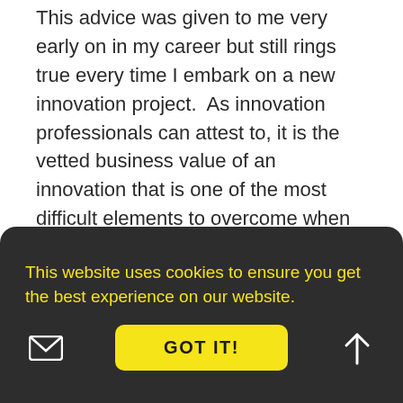This advice was given to me very early on in my career but still rings true every time I embark on a new innovation project.  As innovation professionals can attest to, it is the vetted business value of an innovation that is one of the most difficult elements to overcome when applying for budget or devising a go-to-market strategy.

As the team worked towards the end of the
This website uses cookies to ensure you get the best experience on our website.
GOT IT!